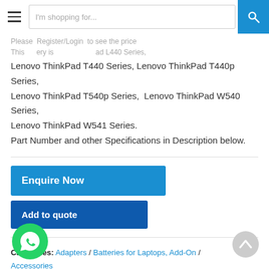I'm shopping for...
Please Register/Login to see the price
This battery is compatible: Lenovo ThinkPad L440 Series, Lenovo ThinkPad T440 Series, Lenovo ThinkPad T440p Series,
Lenovo ThinkPad T540p Series, Lenovo ThinkPad W540 Series,
Lenovo ThinkPad W541 Series.
Part Number and other Specifications in Description below.
[Figure (other): Enquire Now blue button]
[Figure (other): Add to quote dark blue button]
Categories: Adapters / Batteries for Laptops, Add-On / Accessories
Tag: battery
[Figure (other): WhatsApp floating button (green circle with phone icon)]
[Figure (other): Back to top button (grey circle with up arrow)]